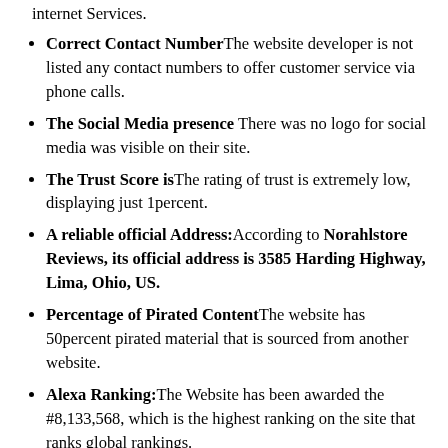internet Services.
Correct Contact Number The website developer is not listed any contact numbers to offer customer service via phone calls.
The Social Media presence There was no logo for social media was visible on their site.
The Trust Score is The rating of trust is extremely low, displaying just 1percent.
A reliable official Address: According to Norahlstore Reviews, its official address is 3585 Harding Highway, Lima, Ohio, US.
Percentage of Pirated Content The website has 50percent pirated material that is sourced from another website.
Alexa Ranking: The Website has been awarded the #8,133,568, which is the highest ranking on the site that ranks global rankings.
The policy on refund The web-portal reimburses the